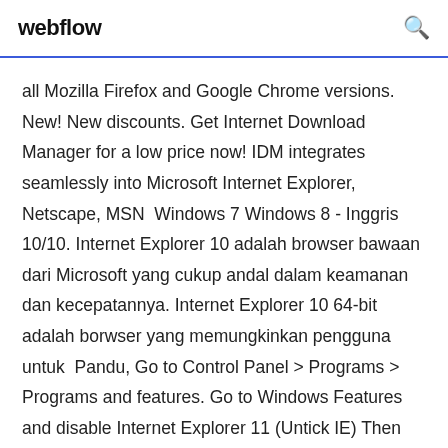webflow
all Mozilla Firefox and Google Chrome versions. New! New discounts. Get Internet Download Manager for a low price now! IDM integrates seamlessly into Microsoft Internet Explorer, Netscape, MSN  Windows 7 Windows 8 - Inggris 10/10. Internet Explorer 10 adalah browser bawaan dari Microsoft yang cukup andal dalam keamanan dan kecepatannya. Internet Explorer 10 64-bit adalah borwser yang memungkinkan pengguna untuk  Pandu, Go to Control Panel > Programs > Programs and features. Go to Windows Features and disable Internet Explorer 11 (Untick IE) Then click on Display